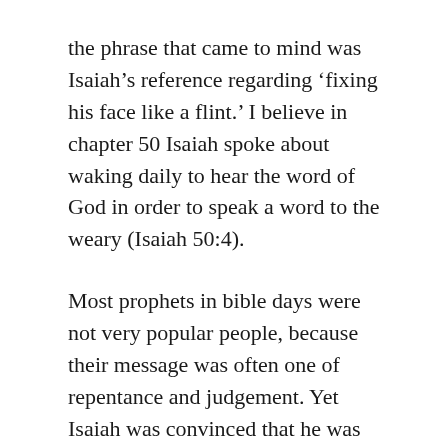the phrase that came to mind was Isaiah’s reference regarding ‘fixing his face like a flint.’ I believe in chapter 50 Isaiah spoke about waking daily to hear the word of God in order to speak a word to the weary (Isaiah 50:4).
Most prophets in bible days were not very popular people, because their message was often one of repentance and judgement. Yet Isaiah was convinced that he was not afraid of shame or persecution, but he would continue to stand firm in his conviction. This is because Isaiah knew that God was with him to protect and defend him.
I looked up the word unflinching and it means, ‘not showing fear or hesitation in the face of danger or